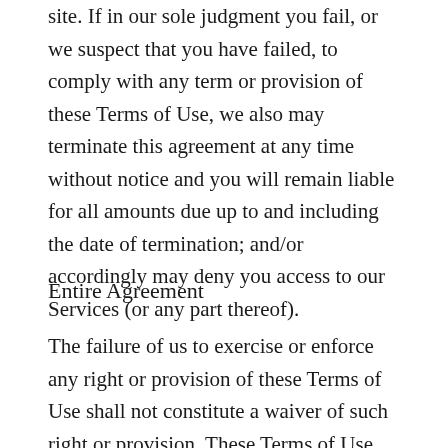site. If in our sole judgment you fail, or we suspect that you have failed, to comply with any term or provision of these Terms of Use, we also may terminate this agreement at any time without notice and you will remain liable for all amounts due up to and including the date of termination; and/or accordingly may deny you access to our Services (or any part thereof).
Entire Agreement
The failure of us to exercise or enforce any right or provision of these Terms of Use shall not constitute a waiver of such right or provision. These Terms of Use and any policies or